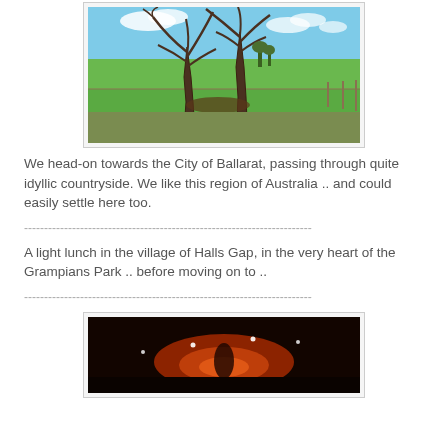[Figure (photo): Landscape photo showing idyllic Australian countryside with two large bare trees in foreground, green fields, blue sky with clouds]
We head-on towards the City of Ballarat, passing through quite idyllic countryside. We like this region of Australia .. and could easily settle here too.
------------------------------------------------------------------------
A light lunch in the village of Halls Gap, in the very heart of the Grampians Park .. before moving on to ..
------------------------------------------------------------------------
[Figure (photo): Dark nighttime photo with lights visible, reddish/orange glow at center, taken through a vehicle window]